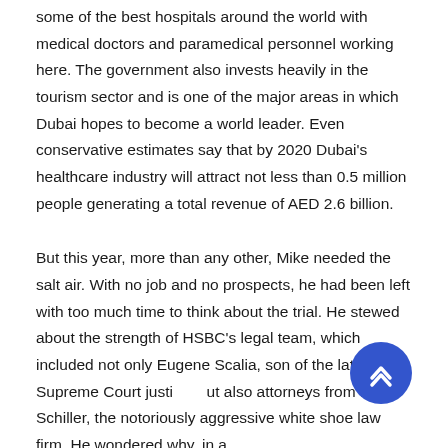some of the best hospitals around the world with medical doctors and paramedical personnel working here. The government also invests heavily in the tourism sector and is one of the major areas in which Dubai hopes to become a world leader. Even conservative estimates say that by 2020 Dubai's healthcare industry will attract not less than 0.5 million people generating a total revenue of AED 2.6 billion.
But this year, more than any other, Mike needed the salt air. With no job and no prospects, he had been left with too much time to think about the trial. He stewed about the strength of HSBC's legal team, which included not only Eugene Scalia, son of the late Supreme Court justice, but also attorneys from Boies Schiller, the notoriously aggressive white shoe law firm. He wondered why, in a